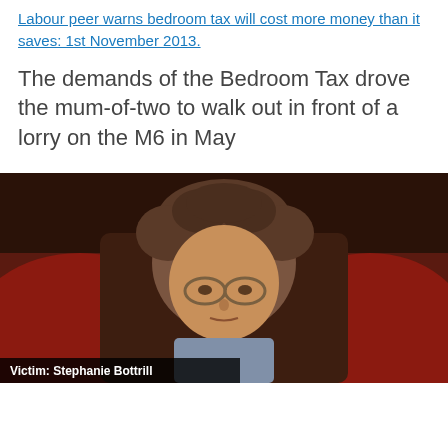Labour peer warns bedroom tax will cost more money than it saves: 1st November 2013.
The demands of the Bedroom Tax drove the mum-of-two to walk out in front of a lorry on the M6 in May
[Figure (photo): Portrait photograph of a middle-aged woman with curly brown hair and glasses, seated in front of a red background. Caption reads: Victim: Stephanie Bottrill]
Victim: Stephanie Bottrill